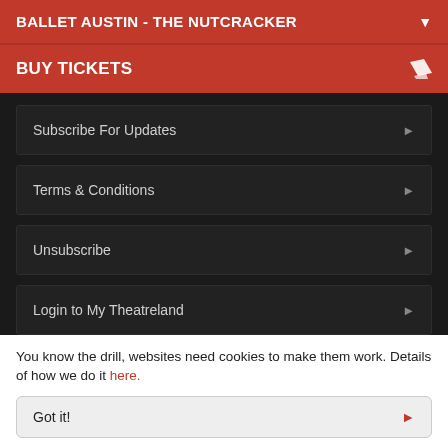BALLET AUSTIN - THE NUTCRACKER
BUY TICKETS
Subscribe For Updates
Terms & Conditions
Unsubscribe
Login to My Theatreland
Advertise
You know the drill, websites need cookies to make them work. Details of how we do it here.
Got it!